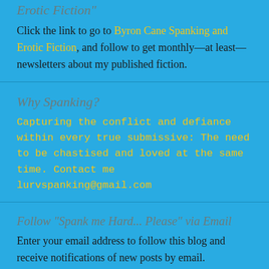Erotic Fiction"
Click the link to go to Byron Cane Spanking and Erotic Fiction, and follow to get monthly—at least—newsletters about my published fiction.
Why Spanking?
Capturing the conflict and defiance within every true submissive: The need to be chastised and loved at the same time. Contact me lurvspanking@gmail.com
Follow "Spank me Hard... Please" via Email
Enter your email address to follow this blog and receive notifications of new posts by email.